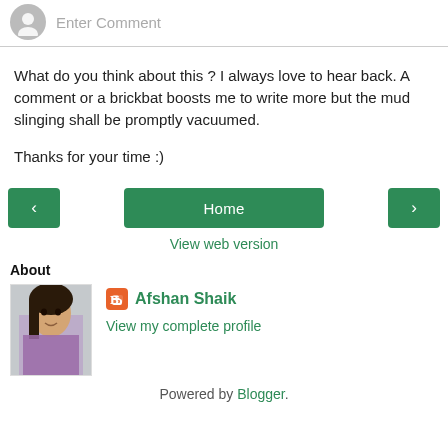[Figure (other): Comment input bar with grey avatar circle and 'Enter Comment' placeholder text]
What do you think about this ? I always love to hear back. A comment or a brickbat boosts me to write more but the mud slinging shall be promptly vacuumed.
Thanks for your time :)
[Figure (other): Navigation buttons: left arrow green button, Home green button, right arrow green button]
View web version
About
[Figure (photo): Profile photo of Afshan Shaik, a woman with dark hair]
Afshan Shaik
View my complete profile
Powered by Blogger.